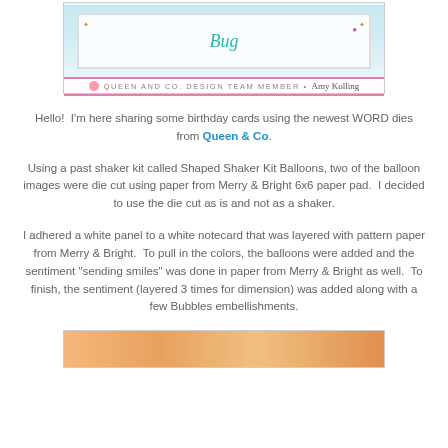[Figure (photo): A handmade greeting card photo showing a card with 'Bug' written in teal script on a light blue background, with a patterned border. Below the card image is a pink line and footer text reading 'QUEEN AND CO. DESIGN TEAM MEMBER · Amy Kolling']
Hello!  I'm here sharing some birthday cards using the newest WORD dies from Queen & Co.
Using a past shaker kit called Shaped Shaker Kit Balloons, two of the balloon images were die cut using paper from Merry & Bright 6x6 paper pad.  I decided to use the die cut as is and not as a shaker.
I adhered a white panel to a white notecard that was layered with pattern paper from Merry & Bright.  To pull in the colors, the balloons were added and the sentiment "sending smiles" was done in paper from Merry & Bright as well.  To finish, the sentiment (layered 3 times for dimension) was added along with a few Bubbles embellishments.
[Figure (photo): Bottom portion of a handmade card with warm orange/golden tones, partially visible at the bottom of the page.]